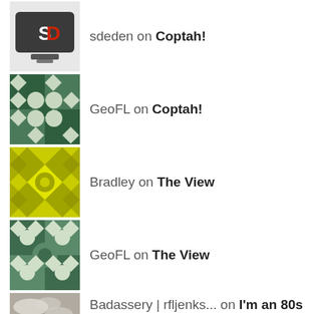sdeden on Coptah!
GeoFL on Coptah!
Bradley on The View
GeoFL on The View
Badassery | rfljenks... on I'm an 80s Badass and Be...
Things I Try to Learn or Laugh About or Both
Black history (27)
Boston (187)
camping (3)
Crafts (3)
dancing (26)